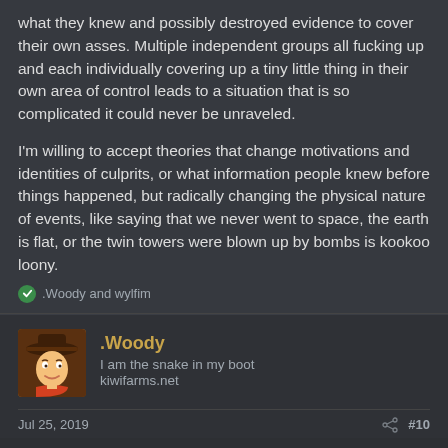what they knew and possibly destroyed evidence to cover their own asses. Multiple independent groups all fucking up and each individually covering up a tiny little thing in their own area of control leads to a situation that is so complicated it could never be unraveled.

I'm willing to accept theories that change motivations and identities of culprits, or what information people knew before things happened, but radically changing the physical nature of events, like saying that we never went to space, the earth is flat, or the twin towers were blown up by bombs is kookoo loony.
.Woody and wylfim
.Woody
I am the snake in my boot
kiwifarms.net
Jul 25, 2019  #10